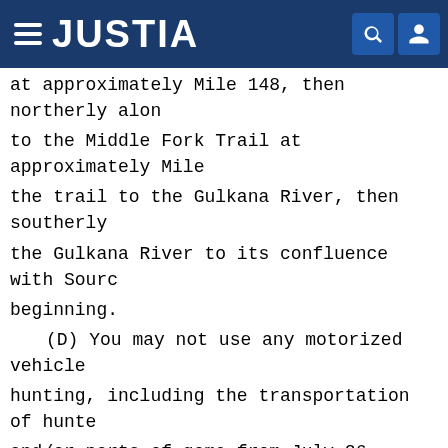JUSTIA
at approximately Mile 148, then northerly along to the Middle Fork Trail at approximately Mile the trail to the Gulkana River, then southerly the Gulkana River to its confluence with Source beginning.
(D) You may not use any motorized vehicle hunting, including the transportation of hunters and/or parts of game from July 26 through September Controlled Use Area. The Tonsina Controlled Use portion of Unit 13D bounded on the west by the the Tiekel River to the Tonsina River at Tonsina the south bank of the Tonsina River to where it crosses the Tonsina River, then along the Edgerton on the east by the Copper River from Chitina to on the south by the north bank of the Tiekel River
(iii) Unit-specific regulations:
(A) You may use bait to hunt black bear be